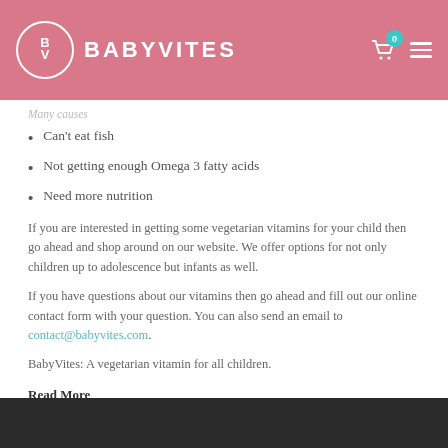BABYVITES
Many causes
Can't eat fish
Not getting enough Omega 3 fatty acids
Need more nutrition
If you are interested in getting some vegetarian vitamins for your child then go ahead and shop around on our website. We offer options for not only children up to adolescence but infants as well.
If you have questions about our vitamins then go ahead and fill out our online contact form with your question. You can also send an email to contact@babyvites.com.
BabyVites: A vegetarian vitamin for all children.
Read More